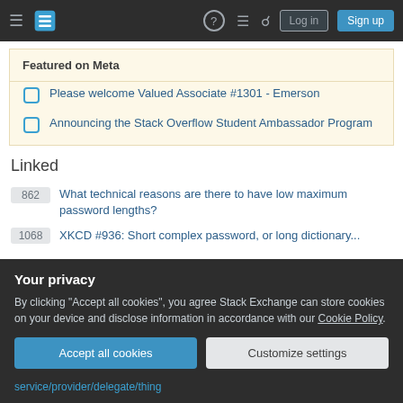Stack Exchange navigation bar with Log in and Sign up buttons
Featured on Meta
Please welcome Valued Associate #1301 - Emerson
Announcing the Stack Overflow Student Ambassador Program
Linked
862 What technical reasons are there to have low maximum password lengths?
XKCD #936: Short complex password, or long dictionary...
Your privacy
By clicking "Accept all cookies", you agree Stack Exchange can store cookies on your device and disclose information in accordance with our Cookie Policy.
Accept all cookies | Customize settings
service/provider/delegate/thing